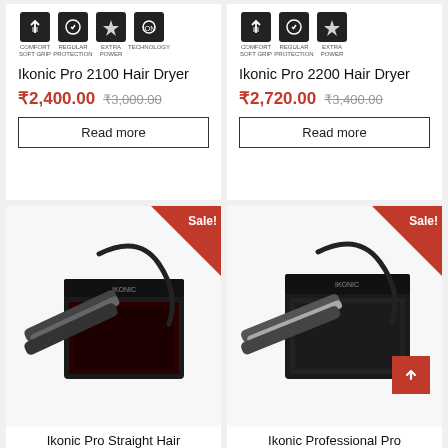[Figure (other): Product icons for Ikonic Pro 2100 Hair Dryer: Comfort Soft Grip, Regular Protection, Extra Power, Technology]
Ikonic Pro 2100 Hair Dryer
₹2,400.00 ₹3,000.00
Read more
[Figure (other): Product icons for Ikonic Pro 2200 Hair Dryer: Comfort Soft Grip, Regular Protection, Extra Power]
Ikonic Pro 2200 Hair Dryer
₹2,720.00 ₹3,400.00
Read more
[Figure (photo): Ikonic Pro Straight Hair product photo with box and hair straightener, Sale badge]
Ikonic Pro Straight Hair
[Figure (photo): Ikonic Professional Pro product photo with box and hair straightener, Sale badge]
Ikonic Professional Pro